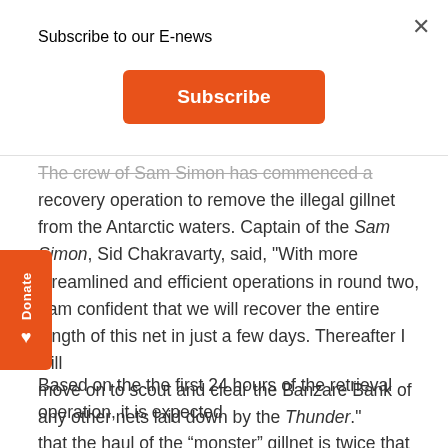Subscribe to our E-news
[Figure (other): Orange Subscribe button]
The crew of Sam Simon has commenced a recovery operation to remove the illegal gillnet from the Antarctic waters. Captain of the Sam Simon, Sid Chakravarty, said, "With more streamlined and efficient operations in round two, I am confident that we will recover the entire length of this net in just a few days. Thereafter I will move on to scout and clear the Banzare Bank of any other nets laid down by the Thunder."
Based on the the first 24 hours of the retrieval operation, it is expected
that the haul of the “monster” gillnet is twice that of the previously confiscated 25 kilometre-long